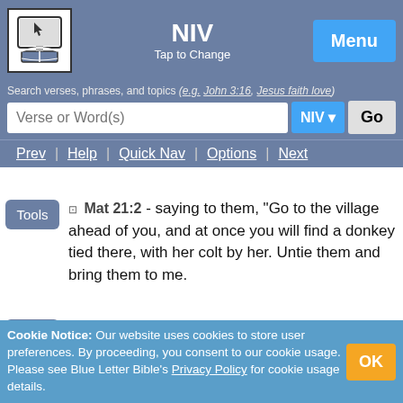NIV | Tap to Change | Menu
Search verses, phrases, and topics (e.g. John 3:16, Jesus faith love)
Verse or Word(s) | NIV | Go
Prev | Help | Quick Nav | Options | Next
Mat 21:2 - saying to them, "Go to the village ahead of you, and at once you will find a donkey tied there, with her colt by her. Untie them and bring them to me.
Mat 21:3 - If anyone says anything to you, say that the Lord needs them, and he will send them right away."
Mat 21:4 - This took place to fulfill what was spoken through the prophet:
Cookie Notice: Our website uses cookies to store user preferences. By proceeding, you consent to our cookie usage. Please see Blue Letter Bible's Privacy Policy for cookie usage details.